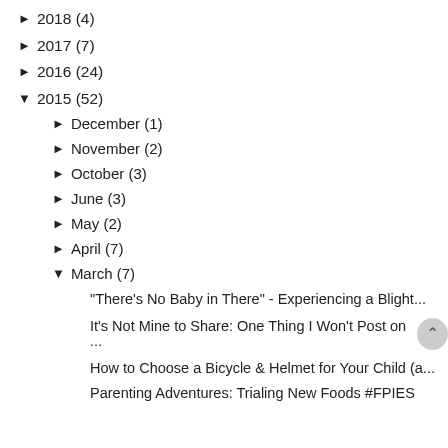► 2018 (4)
► 2017 (7)
► 2016 (24)
▼ 2015 (52)
► December (1)
► November (2)
► October (3)
► June (3)
► May (2)
► April (7)
▼ March (7)
"There's No Baby in There" - Experiencing a Blight...
It's Not Mine to Share: One Thing I Won't Post on ...
How to Choose a Bicycle & Helmet for Your Child (a...
Parenting Adventures: Trialing New Foods #FPIES